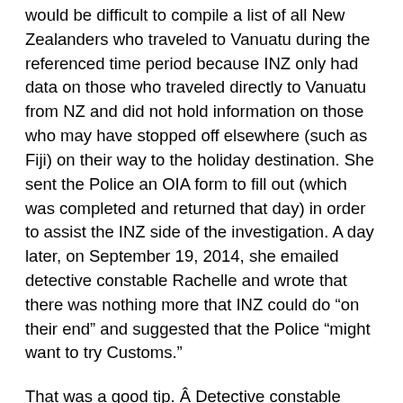would be difficult to compile a list of all New Zealanders who traveled to Vanuatu during the referenced time period because INZ only had data on those who traveled directly to Vanuatu from NZ and did not hold information on those who may have stopped off elsewhere (such as Fiji) on their way to the holiday destination. She sent the Police an OIA form to fill out (which was completed and returned that day) in order to assist the INZ side of the investigation. A day later, on September 19, 2014, she emailed detective constable Rachelle and wrote that there was nothing more that INZ could do “on their end” and suggested that the Police “might want to try Customs.”
That was a good tip. Â Detective constable Rachelle noted then that she would speak to someone at Customs who was working on organised crime to find out the best source for that information. On September 23, 2014, after approaching NZ Customs, the NZ Police received from them spreadsheets containing the names of 2500 NZ citizens or